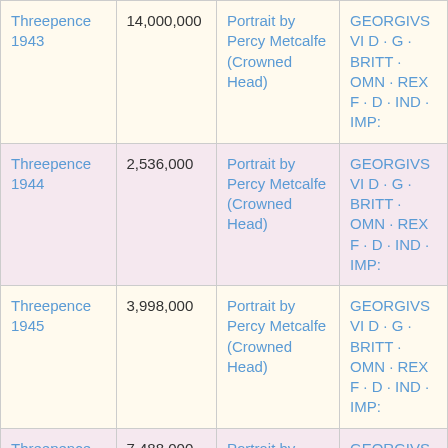| Threepence 1943 | 14,000,000 | Portrait by Percy Metcalfe (Crowned Head) | GEORGIVS VI D · G · BRITT · OMN · REX F · D · IND · IMP: |
| Threepence 1944 | 2,536,000 | Portrait by Percy Metcalfe (Crowned Head) | GEORGIVS VI D · G · BRITT · OMN · REX F · D · IND · IMP: |
| Threepence 1945 | 3,998,000 | Portrait by Percy Metcalfe (Crowned Head) | GEORGIVS VI D · G · BRITT · OMN · REX F · D · IND · IMP: |
| Threepence 1946 | 7,488,000 | Portrait by Percy Metcalfe (Crowned Head) | GEORGIVS VI D · G · BRITT · OMN · REX F · D · IND · IMP: |